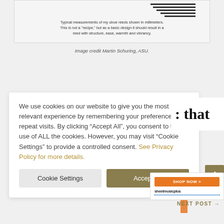[Figure (illustration): Oboe reed diagram showing horizontal lines representing reed measurements, with a caption below describing typical measurements in millimeters.]
Typical measurements of my oboe reeds shown in millimeters. This is not a "recipe," but as a basic design it should result in a reed with structure, ease, warmth and vibrancy.
Image credit Martin Schuring, ASU.
We use cookies on our website to give you the most relevant experience by remembering your preferences and repeat visits. By clicking “Accept All”, you consent to the use of ALL the cookies. However, you may visit "Cookie Settings" to provide a controlled consent. See Privacy Policy for more details.
NEXT POST →